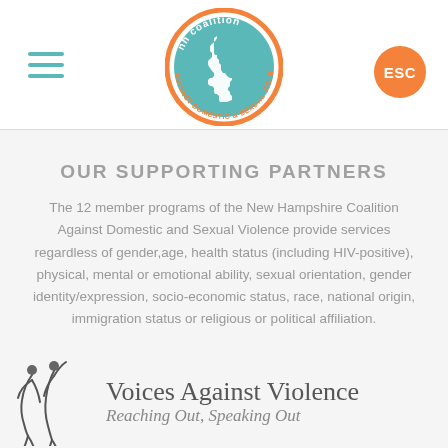[Figure (logo): NH Coalition Against Domestic & Sexual Violence circular logo with teal background and NH state outline in white, orange ring text]
OUR SUPPORTING PARTNERS
The 12 member programs of the New Hampshire Coalition Against Domestic and Sexual Violence provide services regardless of gender,age, health status (including HIV-positive), physical, mental or emotional ability, sexual orientation, gender identity/expression, socio-economic status, race, national origin, immigration status or religious or political affiliation.
[Figure (logo): Voices Against Violence logo with stylized figure illustration and text 'Voices Against Violence Reaching Out, Speaking Out']